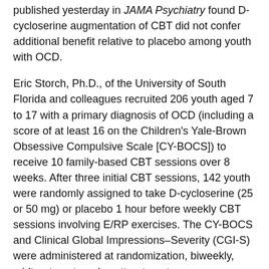published yesterday in JAMA Psychiatry found D-cycloserine augmentation of CBT did not confer additional benefit relative to placebo among youth with OCD.
Eric Storch, Ph.D., of the University of South Florida and colleagues recruited 206 youth aged 7 to 17 with a primary diagnosis of OCD (including a score of at least 16 on the Children's Yale-Brown Obsessive Compulsive Scale [CY-BOCS]) to receive 10 family-based CBT sessions over 8 weeks. After three initial CBT sessions, 142 youth were randomly assigned to take D-cycloserine (25 or 50 mg) or placebo 1 hour before weekly CBT sessions involving E/RP exercises. The CY-BOCS and Clinical Global Impressions–Severity (CGI-S) were administered at randomization, biweekly, midtreatment, and posttreatment.
The researchers found that the D-cycloserine plus CBT group and placebo plus CBT group declined at similar rates per assessment point on the CY-BOCS total score (−2.31 and −2.03, respectively) and CGI-S (−0.29 and −0.23, respectively). They also found no evidence to suggest concomitant antidepressant medication adversely moderated